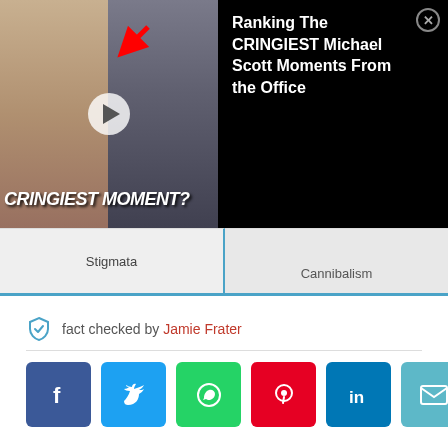[Figure (screenshot): Video ad overlay showing a woman crying on left, a man crying/covering face on right with a red arrow pointing at him, overlaid CRINGIEST MOMENT? text, with a play button in center. Ad title reads: Ranking The CRINGIEST Michael Scott Moments From the Office. Close (X) button top right.]
Stigmata
Cannibalism
fact checked by Jamie Frater
[Figure (infographic): Row of 6 social share buttons: Facebook (blue), Twitter (light blue), WhatsApp (green), Pinterest (red), LinkedIn (dark blue), Email (teal)]
MORE GREAT LISTS
OUR WORLD
10 Mind-Blowing Things That